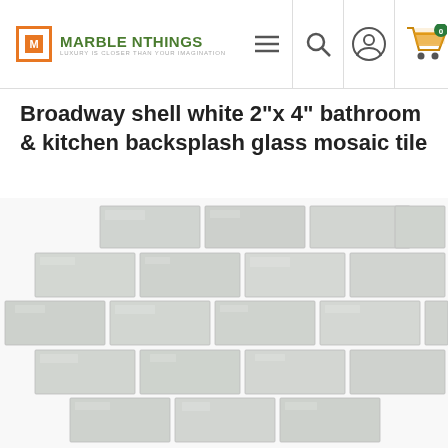MARBLE NTHINGS — LUXURY IS CLOSER THAN YOUR IMAGINATION
Broadway shell white 2"x 4" bathroom & kitchen backsplash glass mosaic tile
[Figure (photo): White/light grey glass mosaic tiles arranged in a brick pattern, showing rectangular tiles approximately 2x4 inches in size with a slightly textured shell-like surface]